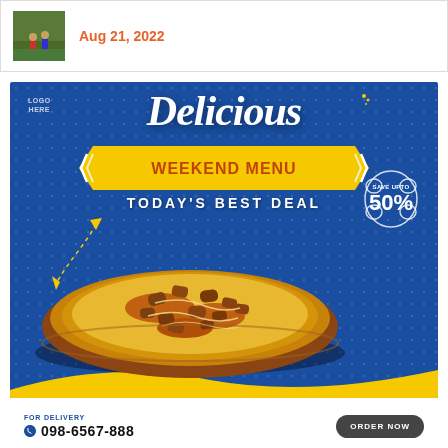[Figure (photo): Small thumbnail showing people on a sports field (green grass)]
Aug 21, 2022
[Figure (infographic): Pizza restaurant advertisement with blue background. Text reads: LOGO HERE, Delicious, WEEKEND MENU, TODAY'S BEST DEAL, SAVE UPTO 50%. Features a large pizza photo and decorative elements including yellow banner and wave.]
FOR DELIVERY
098-6567-888
ORDER NOW